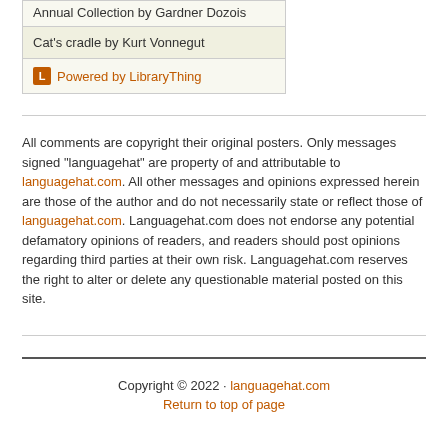[Figure (other): LibraryThing widget showing book entries including 'Annual Collection by Gardner Dozois' and 'Cat's cradle by Kurt Vonnegut', with a 'Powered by LibraryThing' footer row]
All comments are copyright their original posters. Only messages signed "languagehat" are property of and attributable to languagehat.com. All other messages and opinions expressed herein are those of the author and do not necessarily state or reflect those of languagehat.com. Languagehat.com does not endorse any potential defamatory opinions of readers, and readers should post opinions regarding third parties at their own risk. Languagehat.com reserves the right to alter or delete any questionable material posted on this site.
Copyright © 2022 · languagehat.com
Return to top of page